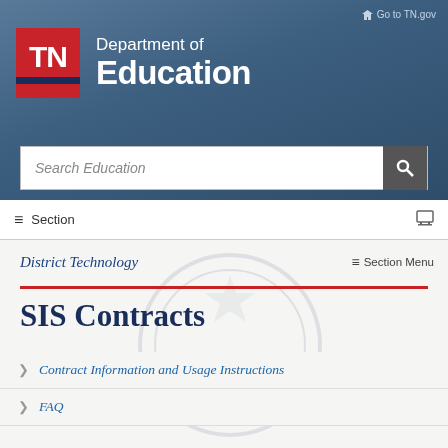Go to TN.gov
[Figure (logo): TN Department of Education logo with red TN square and white text]
Department of Education
Search Education
Section
District Technology
Section Menu
SIS Contracts
Contract Information and Usage Instructions
FAQ